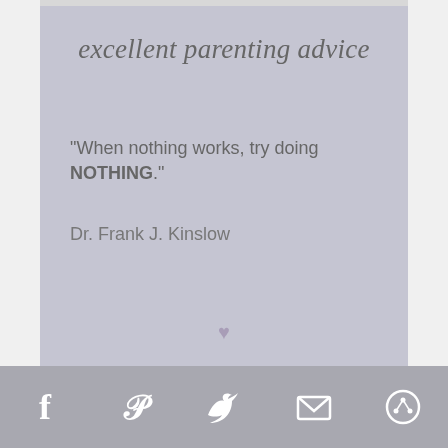[Figure (infographic): Parenting advice quote card with light lavender/grey background. Title reads 'excellent parenting advice' in cursive script. Quote: "When nothing works, try doing NOTHING." attributed to Dr. Frank J. Kinslow. Small heart watermark and shelbyspear.com at bottom.]
[Figure (photo): Partial photo showing top of a blonde woman's head against a green background, cropped.]
[Figure (infographic): Social sharing toolbar with Facebook, Pinterest, Twitter, email, and more options icons on a grey background.]